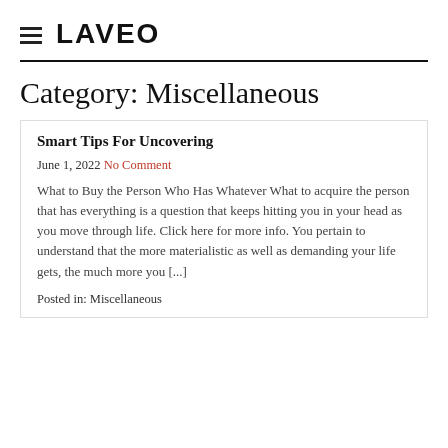LAVEO
Category: Miscellaneous
Smart Tips For Uncovering
June 1, 2022 No Comment
What to Buy the Person Who Has Whatever What to acquire the person that has everything is a question that keeps hitting you in your head as you move through life. Click here for more info. You pertain to understand that the more materialistic as well as demanding your life gets, the much more you [...]
Posted in: Miscellaneous